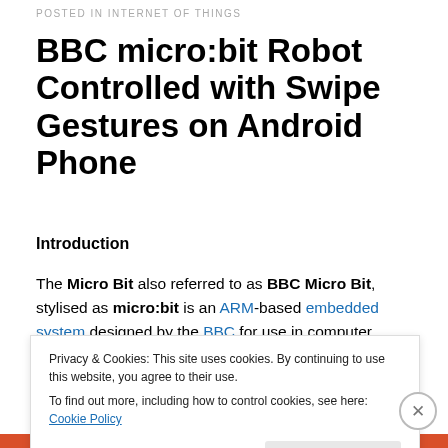POSTED IN INTERNET OF THINGS
BBC micro:bit Robot Controlled with Swipe Gestures on Android Phone
Introduction
The Micro Bit also referred to as BBC Micro Bit, stylised as micro:bit is an ARM-based embedded system designed by the BBC for use in computer education
Privacy & Cookies: This site uses cookies. By continuing to use this website, you agree to their use.
To find out more, including how to control cookies, see here: Cookie Policy